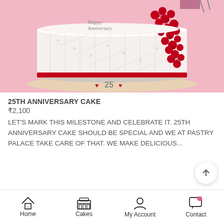[Figure (photo): A white anniversary cake with red rose decorations cascading down the side, heart decorations and number 25 on the plate, with 'Happy Anniversary' written on top. Pink background.]
25TH ANNIVERSARY CAKE
₹2,100
LET'S MARK THIS MILESTONE AND CELEBRATE IT. 25TH ANNIVERSARY CAKE SHOULD BE SPECIAL AND WE AT PASTRY PALACE TAKE CARE OF THAT. WE MAKE DELICIOUS...
Home  Cakes  My Account  Contact